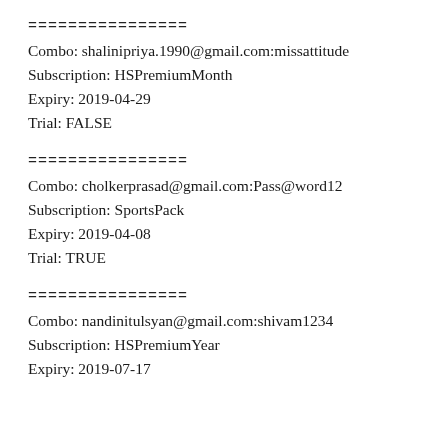================
Combo: shalinipriya.1990@gmail.com:missattitude
Subscription: HSPremiumMonth
Expiry: 2019-04-29
Trial: FALSE
================
Combo: cholkerprasad@gmail.com:Pass@word12
Subscription: SportsPack
Expiry: 2019-04-08
Trial: TRUE
================
Combo: nandinitulsyan@gmail.com:shivam1234
Subscription: HSPremiumYear
Expiry: 2019-07-17